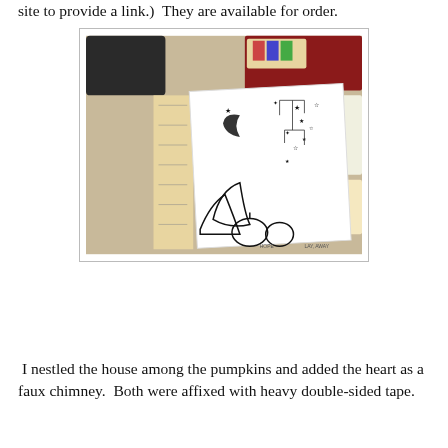site to provide a link.)  They are available for order.
[Figure (photo): A craft photo showing a white card/paper with an ink-stamped design of a night sky mobile with stars, moon, and a house with pumpkins at the bottom, surrounded by rubber stamps, ink pads, and craft supplies on a table.]
I nestled the house among the pumpkins and added the heart as a faux chimney.  Both were affixed with heavy double-sided tape.